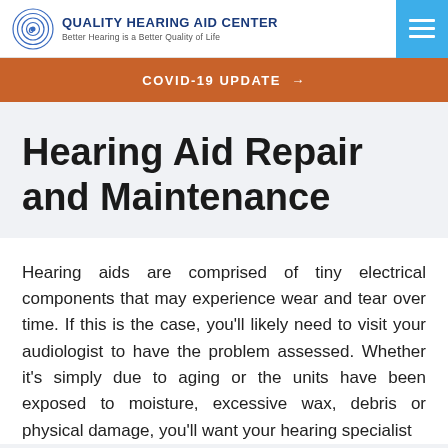QUALITY HEARING AID CENTER — Better Hearing is a Better Quality of Life
COVID-19 UPDATE →
Hearing Aid Repair and Maintenance
Hearing aids are comprised of tiny electrical components that may experience wear and tear over time. If this is the case, you'll likely need to visit your audiologist to have the problem assessed. Whether it's simply due to aging or the units have been exposed to moisture, excessive wax, debris or physical damage, you'll want your hearing specialist